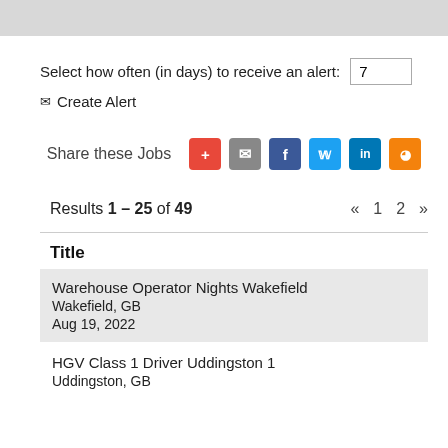Select how often (in days) to receive an alert: 7
✉ Create Alert
Share these Jobs
Results 1 – 25 of 49 « 1 2 »
Title
Warehouse Operator Nights Wakefield
Wakefield, GB
Aug 19, 2022
HGV Class 1 Driver Uddingston 1
Uddingston, GB